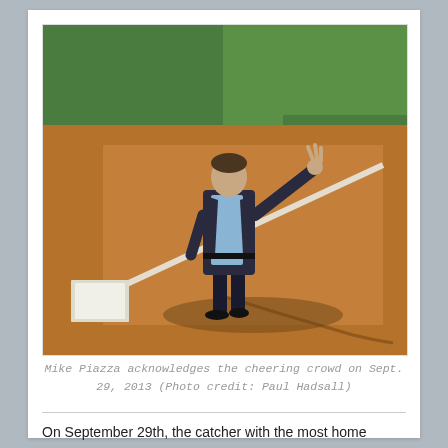[Figure (photo): Mike Piazza standing on a baseball field near home plate, wearing a dark suit, waving to the crowd with his right arm raised. The field shows brown infield dirt and green grass in the background. His shadow is visible on the ground.]
Mike Piazza acknowledges the cheering crowd on Sept. 29, 2013 (Photo credit: Paul Hadsall)
On September 29th, the catcher with the most home